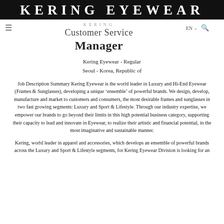KERING EYEWEAR
Kering Customer Service Manager
Kering Eyewear - Regular
Seoul - Korea, Republic of
Job Description Summary Kering Eyewear is the world leader in Luxury and Hi-End Eyewear (Frames & Sunglasses), developing a unique ‘ensemble’ of powerful brands. We design, develop, manufacture and market to customers and consumers, the most desirable frames and sunglasses in two fast growing segments: Luxury and Sport & Lifestyle. Through our industry expertise, we empower our brands to go beyond their limits in this high potential business category, supporting their capacity to lead and innovate in Eyewear, to realize their artistic and financial potential, in the most imaginative and sustainable manner.
Kering, world leader in apparel and accessories, which develops an ensemble of powerful brands across the Luxury and Sport & Lifestyle segments, for Kering Eyewear Division is looking for an